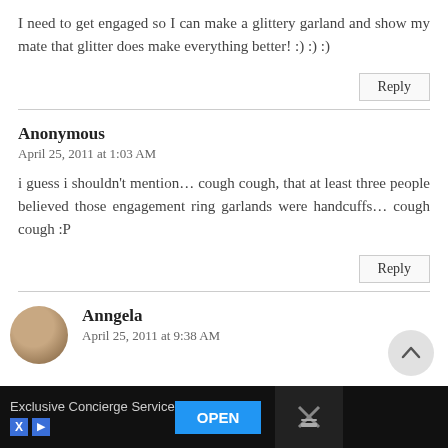I need to get engaged so I can make a glittery garland and show my mate that glitter does make everything better! :) :) :)
Anonymous
April 25, 2011 at 1:03 AM
i guess i shouldn't mention… cough cough, that at least three people believed those engagement ring garlands were handcuffs… cough cough :P
Anngela
April 25, 2011 at 9:38 AM
[Figure (infographic): Advertisement bar at bottom with 'Exclusive Concierge Service' text, OPEN button, and X/logo icons]